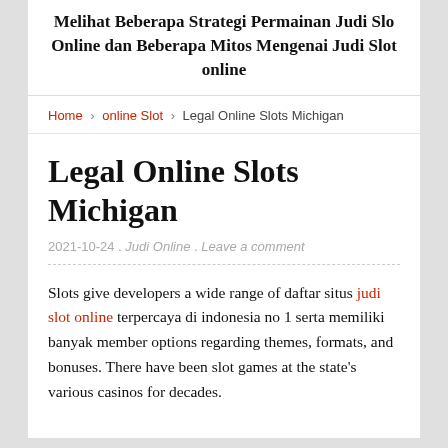Melihat Beberapa Strategi Permainan Judi Slo Online dan Beberapa Mitos Mengenai Judi Slot online
Home > online Slot > Legal Online Slots Michigan
Legal Online Slots Michigan
2021-10-24 . Judi Online . Leave a comment
Slots give developers a wide range of daftar situs judi slot online terpercaya di indonesia no 1 serta memiliki banyak member options regarding themes, formats, and bonuses. There have been slot games at the state's various casinos for decades.